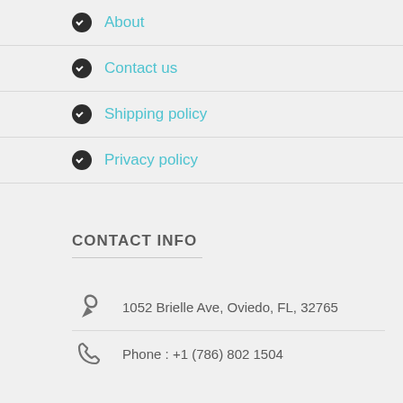About
Contact us
Shipping policy
Privacy policy
CONTACT INFO
1052 Brielle Ave, Oviedo, FL, 32765
Phone : +1 (786) 802 1504